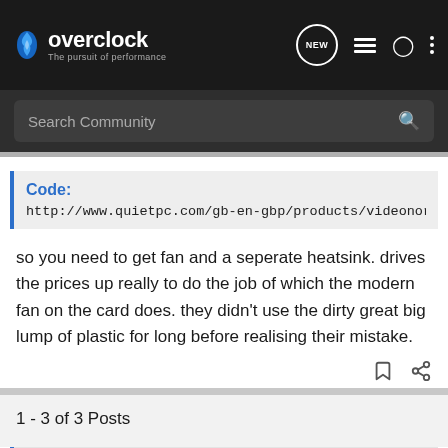overclock — The pursuit of performance
Search Community
Code:
http://www.quietpc.com/gb-en-gbp/products/videonorthb
so you need to get fan and a seperate heatsink. drives the prices up really to do the job of which the modern fan on the card does. they didn't use the dirty great big lump of plastic for long before realising their mistake.
1 - 3 of 3 Posts
This is an older thread, you may not receive a response, and could be